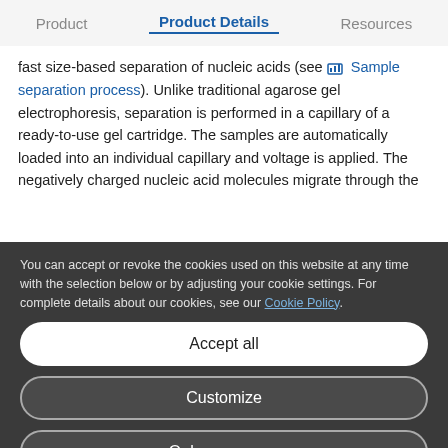Product | Product Details | Resources
fast size-based separation of nucleic acids (see Sample separation process). Unlike traditional agarose gel electrophoresis, separation is performed in a capillary of a ready-to-use gel cartridge. The samples are automatically loaded into an individual capillary and voltage is applied. The negatively charged nucleic acid molecules migrate through the
You can accept or revoke the cookies used on this website at any time with the selection below or by adjusting your cookie settings. For complete details about our cookies, see our Cookie Policy.
Accept all
Customize
Only necessary